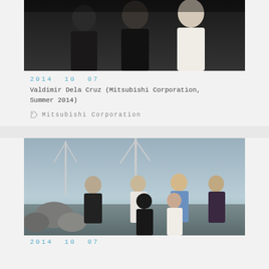[Figure (photo): Group photo of people in formal/business attire, dark background, top portion cropped]
2014  10  07
Valdimir Dela Cruz (Mitsubishi Corporation, Summer 2014)
Mitsubishi Corporation
[Figure (photo): Group photo of six people standing outdoors near wind turbines and a harbor/coastal area. Four men standing in back row, two women in front row.]
2014  10  07